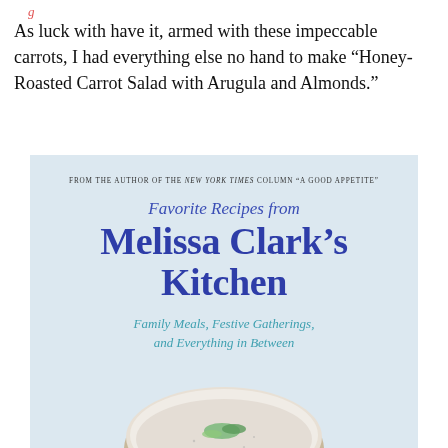...g...
As luck with have it, armed with these impeccable carrots, I had everything else no hand to make “Honey-Roasted Carrot Salad with Arugula and Almonds.”
[Figure (photo): Book cover for 'Favorite Recipes from Melissa Clark's Kitchen: Family Meals, Festive Gatherings, and Everything in Between'. Light blue cover with title text in blue/teal, and a photo of a bowl with food at the bottom. Tagline reads 'FROM THE AUTHOR OF THE NEW YORK TIMES COLUMN A GOOD APPETITE'.]